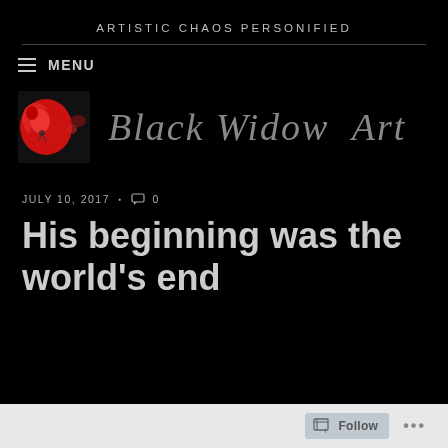ARTISTIC CHAOS PERSONIFIED
MENU
[Figure (logo): Black Widow Art blog logo with red spider image and cursive script text 'Black Widow Art']
JULY 10, 2017 · 0
His beginning was the world's end
Follow ...